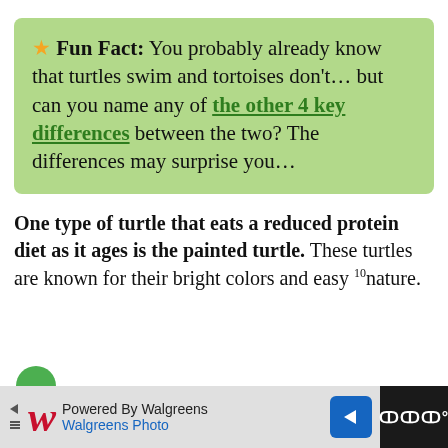★ Fun Fact: You probably already know that turtles swim and tortoises don't... but can you name any of the other 4 key differences between the two? The differences may surprise you...
One type of turtle that eats a reduced protein diet as it ages is the painted turtle. These turtles are known for their bright colors and easy ¹⁰nature.
[Figure (other): Walgreens advertisement bar at the bottom: Powered By Walgreens, Walgreens Photo, with Walgreens W logo, navigation arrow icon, and dark right panel.]